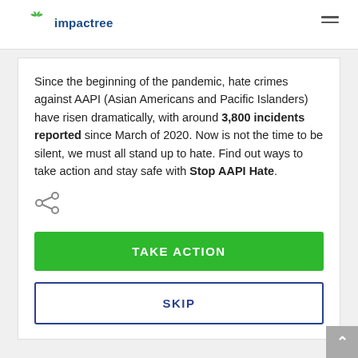impactree
Since the beginning of the pandemic, hate crimes against AAPI (Asian Americans and Pacific Islanders) have risen dramatically, with around 3,800 incidents reported since March of 2020. Now is not the time to be silent, we must all stand up to hate. Find out ways to take action and stay safe with Stop AAPI Hate.
[Figure (other): Share icon (social sharing button)]
TAKE ACTION
SKIP